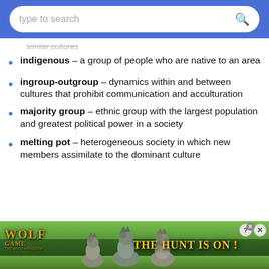type to search
similar cultures (partial, cut off at top)
indigenous – a group of people who are native to an area
ingroup-outgroup – dynamics within and between cultures that prohibit communication and acculturation
majority group – ethnic group with the largest population and greatest political power in a society
melting pot – heterogeneous society in which new members assimilate to the dominant culture
[Figure (screenshot): Advertisement banner for Wolf Game: The Wild Kingdom showing wolves in a meadow with tagline THE HUNT IS ON!]